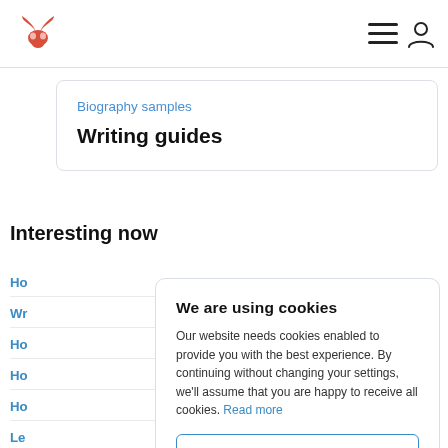[Figure (logo): Red bull skull/horns logo in top left corner of navigation bar]
[Figure (illustration): Hamburger menu icon and user/person icon in top right corner of navigation bar]
Biography samples
Writing guides
Interesting now
Ho
Wr
Ho
Ho
Ho
Le
Effortlessly
We are using cookies
Our website needs cookies enabled to provide you with the best experience. By continuing without changing your settings, we'll assume that you are happy to receive all cookies. Read more
IT'S OK